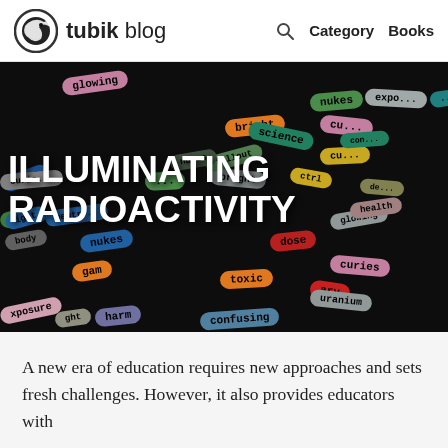tubik blog  Category  Books
[Figure (illustration): Dark background hero image with colorful pill-shaped word tags scattered around. Words include: glowing, bright, science, nukes, curie, fallout, nukes, body, neutron, uranium, exposure, harm, confusing, gam, toxic, uranium, curies, dose, health, con. Large white bold text reads ILLUMINATING RADIOACTIVITY.]
A new era of education requires new approaches and sets fresh challenges. However, it also provides educators with